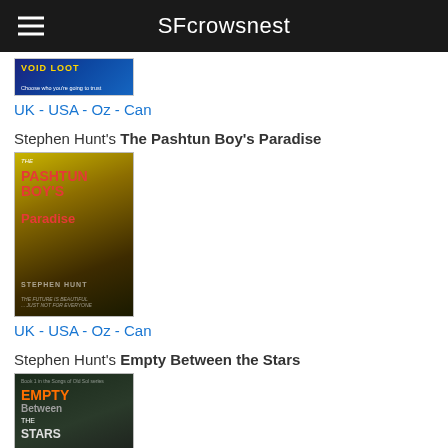SFcrowsnest
[Figure (illustration): Book cover partially visible at top showing 'Void' title in yellow on blue background]
UK - USA - Oz - Can
Stephen Hunt's The Pashtun Boy's Paradise
[Figure (illustration): Book cover for 'The Pashtun Boy's Paradise' by Stephen Hunt. Shows a figure in dark clothing against a blurred city background. Red and white text on olive background. Tagline: THE FUTURE IS BEAUTIFUL... JUST NOT FOR EVERYONE]
UK - USA - Oz - Can
Stephen Hunt's Empty Between the Stars
[Figure (illustration): Book cover for 'Empty Between the Stars' by Stephen Hunt. Orange and grey text on dark forest background with small figure visible.]